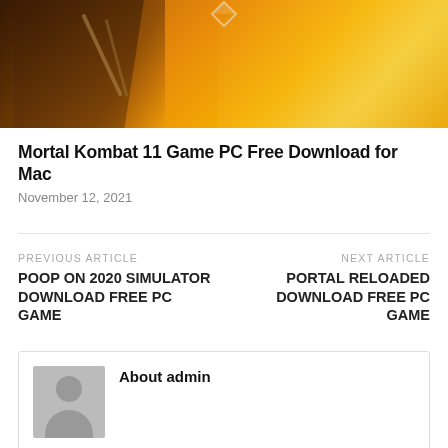[Figure (photo): Mortal Kombat 11 game artwork showing an armored warrior in orange/golden lighting with swords, diamond logo at top]
Mortal Kombat 11 Game PC Free Download for Mac
November 12, 2021
PREVIOUS ARTICLE
POOP ON 2020 SIMULATOR Download Free PC Game
NEXT ARTICLE
PORTAL RELOADED Download Free PC Game
About admin